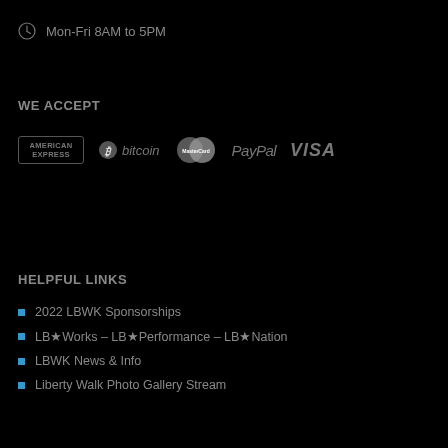Mon-Fri 8AM to 5PM
WE ACCEPT
[Figure (logo): Payment method logos: American Express, Bitcoin, MasterCard, PayPal, VISA]
HELPFUL LINKS
2022 LBWK Sponsorships
LB★Works – LB★Performance – LB★Nation
LBWK News & Info
Liberty Walk Photo Gallery Stream